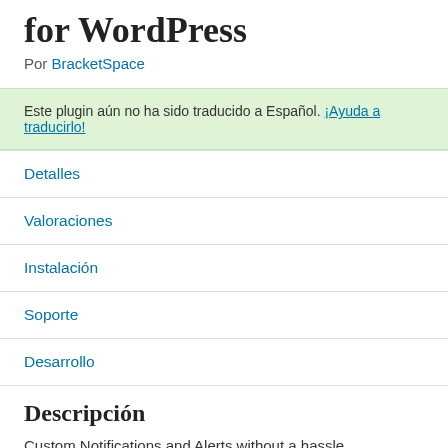for WordPress
Por BracketSpace
Este plugin aún no ha sido traducido a Español. ¡Ayuda a traducirlo!
Detalles
Valoraciones
Instalación
Soporte
Desarrollo
Descripción
Custom Notifications and Alerts without a hassle. Notify anyone about any action in your WordPress.